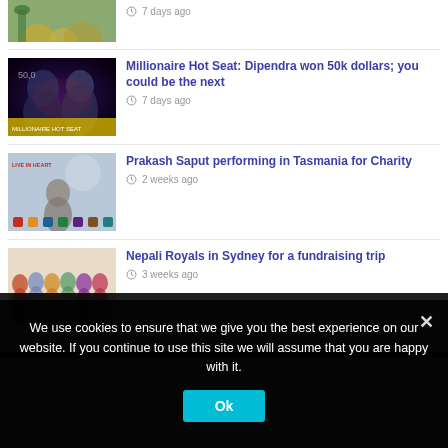[Figure (photo): Partial thumbnail of first news item (coins/plants), cropped at top]
7 days ago
[Figure (photo): Thumbnail of Millionaire Hot Seat show with two people]
Millionaire Hot Seat: Dipendra won 50k dollars; you could be the next
7 days ago
[Figure (photo): Thumbnail of Prakash Saput Live in Heart concert poster]
Prakash Saput performing in Tasmania for Charity
2 weeks ago
[Figure (photo): Thumbnail of Nepali Royals group photo in traditional dress]
Nepali Royals in Sydney for a fundraising trip
3 weeks ago
We use cookies to ensure that we give you the best experience on our website. If you continue to use this site we will assume that you are happy with it.